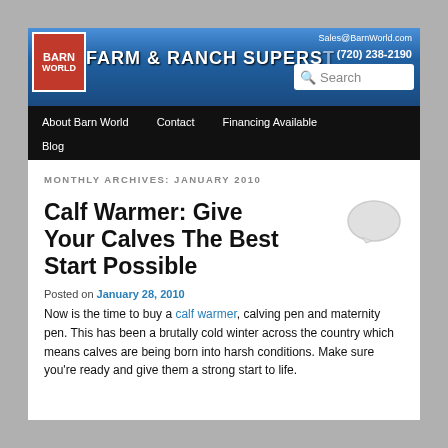Barn World – Farm & Ranch Super Store | Sales@BarnWorld.com | (720) 238-2190 | Search | About Barn World | Contact | Financing Available | Blog
MONTHLY ARCHIVES: JANUARY 2010
Calf Warmer: Give Your Calves The Best Start Possible
Posted on January 28, 2010
Now is the time to buy a calf warmer, calving pen and maternity pen. This has been a brutally cold winter across the country which means calves are being born into harsh conditions. Make sure you're ready and give them a strong start to life.